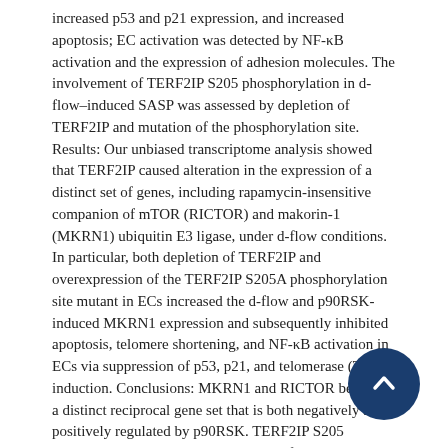increased p53 and p21 expression, and increased apoptosis; EC activation was detected by NF-κB activation and the expression of adhesion molecules. The involvement of TERF2IP S205 phosphorylation in d-flow–induced SASP was assessed by depletion of TERF2IP and mutation of the phosphorylation site. Results: Our unbiased transcriptome analysis showed that TERF2IP caused alteration in the expression of a distinct set of genes, including rapamycin-insensitive companion of mTOR (RICTOR) and makorin-1 (MKRN1) ubiquitin E3 ligase, under d-flow conditions. In particular, both depletion of TERF2IP and overexpression of the TERF2IP S205A phosphorylation site mutant in ECs increased the d-flow and p90RSK-induced MKRN1 expression and subsequently inhibited apoptosis, telomere shortening, and NF-κB activation in ECs via suppression of p53, p21, and telomerase (TERT) induction. Conclusions: MKRN1 and RICTOR belong to a distinct reciprocal gene set that is both negatively and positively regulated by p90RSK. TERF2IP S205 phosphorylation, a downstream event of p90RSK activation, uniquely inhibits MKRN1 expression and contributes to EC activation and senescence, which are key events for atherogenesis.